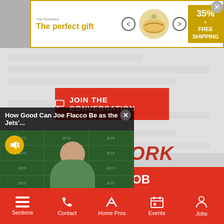[Figure (screenshot): Advertisement banner: 'The perfect gift' with food imagery, 35% off and FREE SHIPPING promo, close button]
[Figure (screenshot): Blurred comments section background with gray placeholder rows]
JOIN THE CONVERSATION
ORK
OB
neys, Technology,
[Figure (screenshot): Video popup: 'How Good Can Joe Flacco Be as the Jets'...' showing Robert Saleh at Jets press conference with DAILY logo, mute button]
Analytics in HR, Project Social We...
Sections  Contact  Home Pros  Events  Jobs